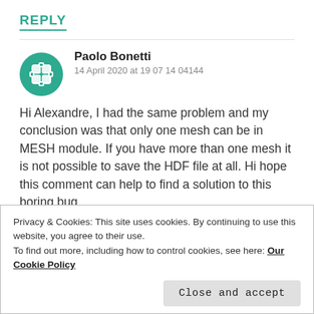REPLY
Paolo Bonetti
14 April 2020 at 19 07 14 04144
Hi Alexandre, I had the same problem and my conclusion was that only one mesh can be in MESH module. If you have more than one mesh it is not possible to save the HDF file at all. Hi hope this comment can help to find a solution to this boring bug.
Privacy & Cookies: This site uses cookies. By continuing to use this website, you agree to their use.
To find out more, including how to control cookies, see here: Our Cookie Policy
Close and accept